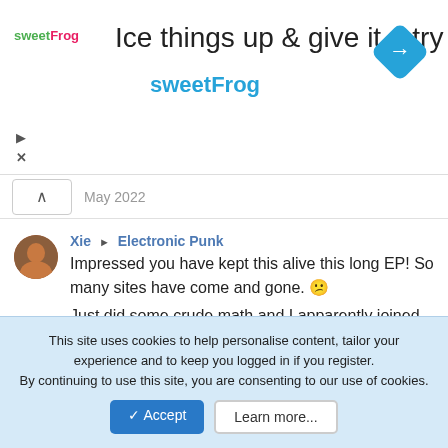[Figure (screenshot): Advertisement banner for sweetFrog with logo, headline 'Ice things up & give it a try', subline 'sweetFrog', and a blue navigation diamond icon on the right.]
May 2022
Xie ▶ Electronic Punk
Impressed you have kept this alive this long EP! So many sites have come and gone. 😕

Just did some crude math and I apparently joined almost 18yrs ago, how is that possible???
21 Jul 2021
Nismo83
hello peeps... is been some time since i last came here.
8 Dec 2020
This site uses cookies to help personalise content, tailor your experience and to keep you logged in if you register.
By continuing to use this site, you are consenting to our use of cookies.